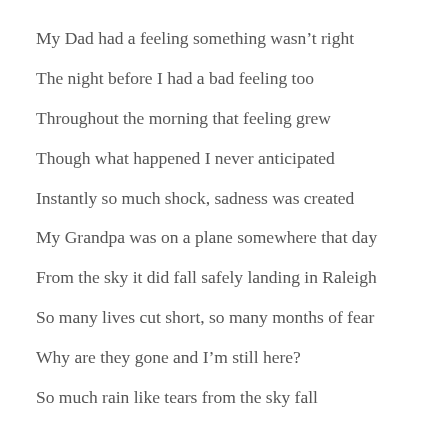My Dad had a feeling something wasn’t right
The night before I had a bad feeling too
Throughout the morning that feeling grew
Though what happened I never anticipated
Instantly so much shock, sadness was created
My Grandpa was on a plane somewhere that day
From the sky it did fall safely landing in Raleigh
So many lives cut short, so many months of fear
Why are they gone and I’m still here?
So much rain like tears from the sky fall